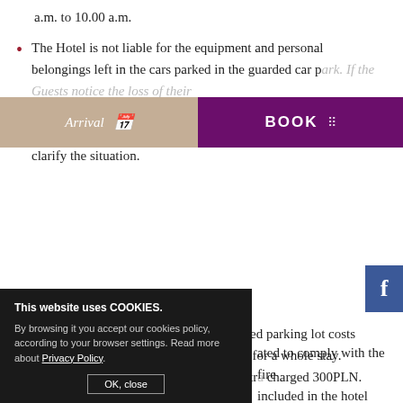a.m. to 10.00 a.m.
The Hotel is not liable for the equipment and personal belongings left in the cars parked in the guarded car park. If the Guests notice the loss of their belongings, they should notify the reception about this fact without delay in order to react as quickly as possible and clarify the situation.
Parking space in the underground, guarded parking lot costs 60PLN/day/car. A parking card is issued for a whole stay. Losing or damaging a parking card is extra charged 300PLN.
...ated to comply with the fire ...included in the hotel guide. ...provisions, it is forbidden to ...whole premises of the Hotel.
This website uses COOKIES. By browsing it you accept our cookies policy, according to your browser settings. Read more about Privacy Policy. OK, close